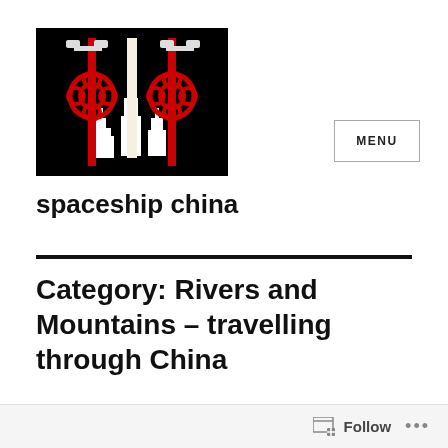[Figure (photo): Black background image with two red Chinese knot decorations (traditional lucky knot ornaments) hanging on a stylized white building/skyline silhouette graphic]
spaceship china
Category: Rivers and Mountains – travelling through China
Follow